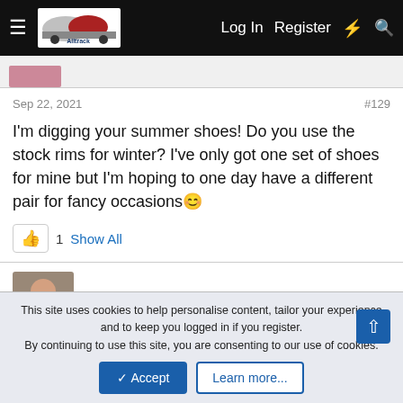≡  [Alltrack logo]  Log In  Register  ⚡  🔍
Sep 22, 2021   #129
I'm digging your summer shoes! Do you use the stock rims for winter? I've only got one set of shoes for mine but I'm hoping to one day have a different pair for fancy occasions 🙂
👍 1  Show All
LovelyOne
This site uses cookies to help personalise content, tailor your experience and to keep you logged in if you register.
By continuing to use this site, you are consenting to our use of cookies.
✓ Accept   Learn more...